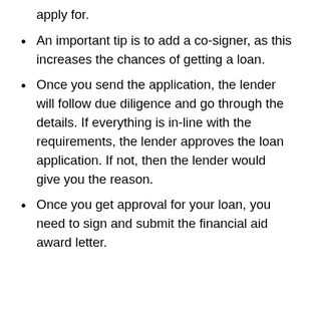apply for.
An important tip is to add a co-signer, as this increases the chances of getting a loan.
Once you send the application, the lender will follow due diligence and go through the details. If everything is in-line with the requirements, the lender approves the loan application. If not, then the lender would give you the reason.
Once you get approval for your loan, you need to sign and submit the financial aid award letter.